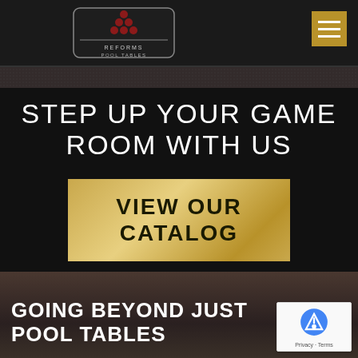[Figure (logo): Billiards/pool table company logo with pyramid of red balls above text 'REFORMS POOL TABLES', inside a shield/badge shape]
[Figure (other): Hamburger menu icon (3 horizontal lines) on a golden/tan background square]
[Figure (other): Dark textured band below navigation, resembling a pool table felt texture]
STEP UP YOUR GAME ROOM WITH US
[Figure (other): Gold gradient call-to-action button reading VIEW OUR CATALOG]
GOING BEYOND JUST POOL TABLES
[Figure (other): reCAPTCHA badge with Google reCAPTCHA logo, Privacy and Terms links]